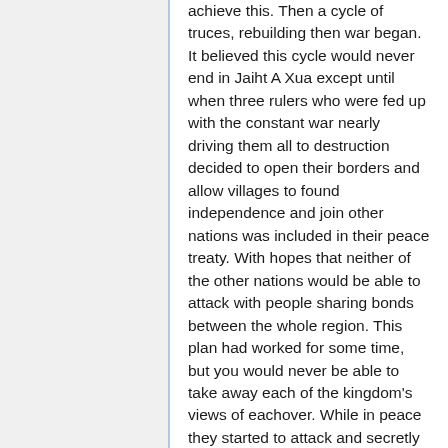achieve this. Then a cycle of truces, rebuilding then war began.
It believed this cycle would never end in Jaiht A Xua except until when three rulers who were fed up with the constant war nearly driving them all to destruction decided to open their borders and allow villages to found independence and join other nations was included in their peace treaty. With hopes that neither of the other nations would be able to attack with people sharing bonds between the whole region. This plan had worked for some time, but you would never be able to take away each of the kingdom's views of eachover. While in peace they started to attack and secretly sabotage eachover, trying to not cause war but still continuing the war effort.
This "peace" lasted for some time